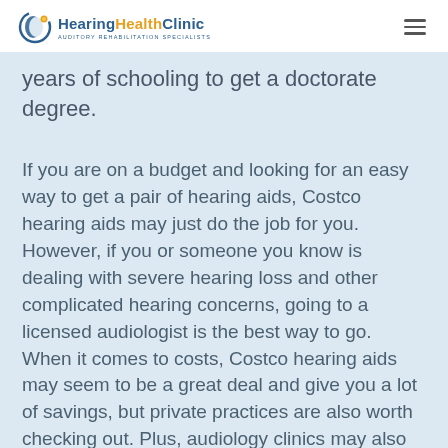Hearing Health Clinic — AUDITORY REHABILITATION SPECIALISTS
years of schooling to get a doctorate degree.
If you are on a budget and looking for an easy way to get a pair of hearing aids, Costco hearing aids may just do the job for you. However, if you or someone you know is dealing with severe hearing loss and other complicated hearing concerns, going to a licensed audiologist is the best way to go. When it comes to costs, Costco hearing aids may seem to be a great deal and give you a lot of savings, but private practices are also worth checking out. Plus, audiology clinics may also have a bundled offer which